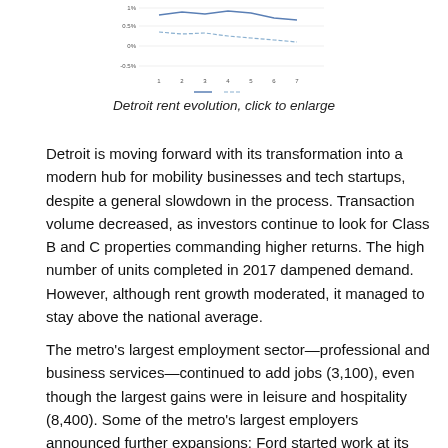[Figure (line-chart): Line chart showing Detroit rent evolution over multiple years, with multiple lines (trends). Y-axis shows percent values, x-axis shows years.]
Detroit rent evolution, click to enlarge
Detroit is moving forward with its transformation into a modern hub for mobility businesses and tech startups, despite a general slowdown in the process. Transaction volume decreased, as investors continue to look for Class B and C properties commanding higher returns. The high number of units completed in 2017 dampened demand. However, although rent growth moderated, it managed to stay above the national average.
The metro's largest employment sector—professional and business services—continued to add jobs (3,100), even though the largest gains were in leisure and hospitality (8,400). Some of the metro's largest employers announced further expansions: Ford started work at its new Corktown